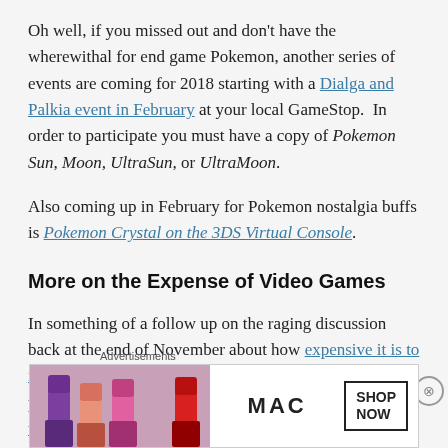Oh well, if you missed out and don't have the wherewithal for end game Pokemon, another series of events are coming for 2018 starting with a Dialga and Palkia event in February at your local GameStop.  In order to participate you must have a copy of Pokemon Sun, Moon, UltraSun, or UltraMoon.
Also coming up in February for Pokemon nostalgia buffs is Pokemon Crystal on the 3DS Virtual Console.
More on the Expense of Video Games
In something of a follow up on the raging discussion back at the end of November about how expensive it is to make video games, Raph Koster has returned with a new presentation and discussion about the cost of making video
Advertisements
[Figure (photo): MAC Cosmetics advertisement banner showing lipsticks with SHOP NOW button]